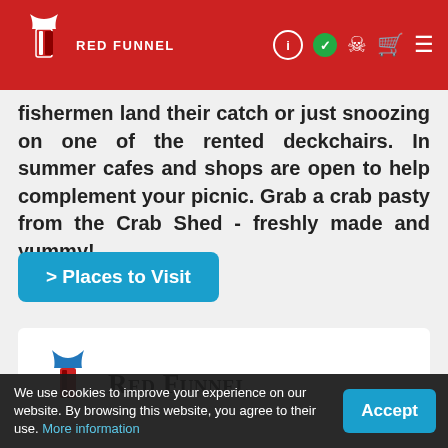Red Funnel
fishermen land their catch or just snoozing on one of the rented deckchairs. In summer cafes and shops are open to help complement your picnic. Grab a crab pasty from the Crab Shed - freshly made and yummy!
> Places to Visit
[Figure (logo): Red Funnel logo with funnel icon and brand name in serif font]
We use cookies to improve your experience on our website. By browsing this website, you agree to their use. More information